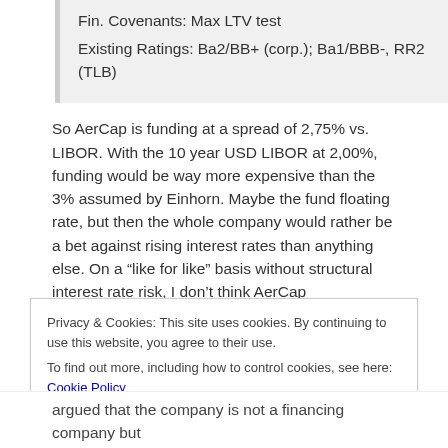Fin. Covenants: Max LTV test
Existing Ratings: Ba2/BB+ (corp.); Ba1/BBB-, RR2 (TLB)
So AerCap is funding at a spread of 2,75% vs. LIBOR. With the 10 year USD LIBOR at 2,00%, funding would be way more expensive than the 3% assumed by Einhorn. Maybe the fund floating rate, but then the whole company would rather be a bet against rising interest rates than anything else. On a “like for like” basis without structural interest rate risk, I don’t think AerCap
Privacy & Cookies: This site uses cookies. By continuing to use this website, you agree to their use.
To find out more, including how to control cookies, see here: Cookie Policy
Close and accept
argued that the company is not a financing company but